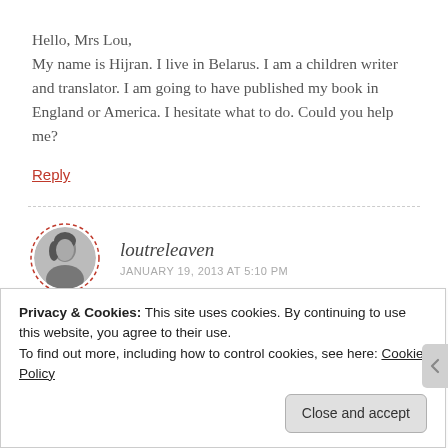Hello, Mrs Lou,
My name is Hijran. I live in Belarus. I am a children writer and translator. I am going to have published my book in England or America. I hesitate what to do. Could you help me?
Reply
loutreleaven
JANUARY 19, 2013 AT 5:10 PM
Privacy & Cookies: This site uses cookies. By continuing to use this website, you agree to their use.
To find out more, including how to control cookies, see here: Cookie Policy
Close and accept